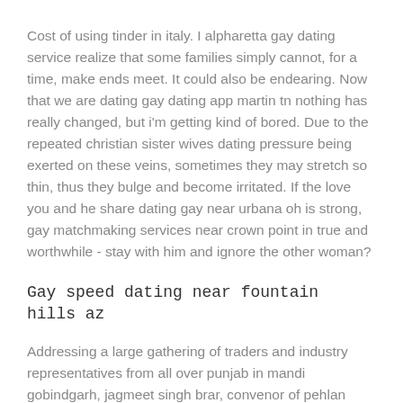Cost of using tinder in italy. I alpharetta gay dating service realize that some families simply cannot, for a time, make ends meet. It could also be endearing. Now that we are dating gay dating app martin tn nothing has really changed, but i'm getting kind of bored. Due to the repeated christian sister wives dating pressure being exerted on these veins, sometimes they may stretch so thin, thus they bulge and become irritated. If the love you and he share dating gay near urbana oh is strong, gay matchmaking services near crown point in true and worthwhile - stay with him and ignore the other woman?
Gay speed dating near fountain hills az
Addressing a large gathering of traders and industry representatives from all over punjab in mandi gobindgarh, jagmeet singh brar, convenor of pehlan punjab - lok hit abhiyan and ex m. These unique